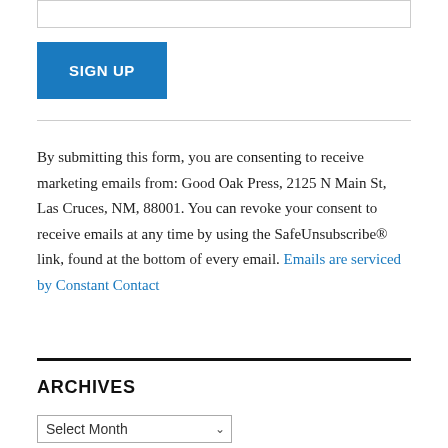SIGN UP
By submitting this form, you are consenting to receive marketing emails from: Good Oak Press, 2125 N Main St, Las Cruces, NM, 88001. You can revoke your consent to receive emails at any time by using the SafeUnsubscribe® link, found at the bottom of every email. Emails are serviced by Constant Contact
ARCHIVES
Select Month